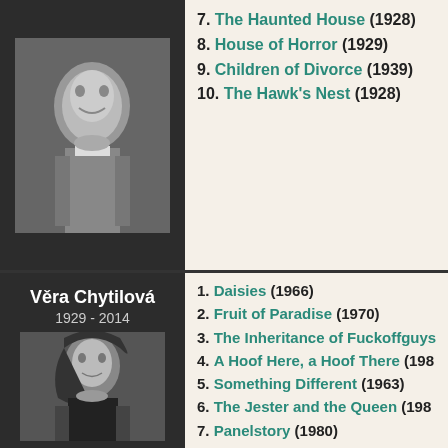[Figure (photo): Black and white portrait photo of a man in suit]
7. The Haunted House (1928)
8. House of Horror (1929)
9. Children of Divorce (1939)
10. The Hawk's Nest (1928)
Věra Chytilová
1929 - 2014
[Figure (photo): Black and white portrait photo of Věra Chytilová, a woman with dark hair]
1. Daisies (1966)
2. Fruit of Paradise (1970)
3. The Inheritance of Fuckoffguys
4. A Hoof Here, a Hoof There (198…)
5. Something Different (1963)
6. The Jester and the Queen (198…)
7. Panelstory (1980)
8. The Apple Game (1977)
9. Wolf's Trap (1987)
10. The Very Late Afternoon of a F…